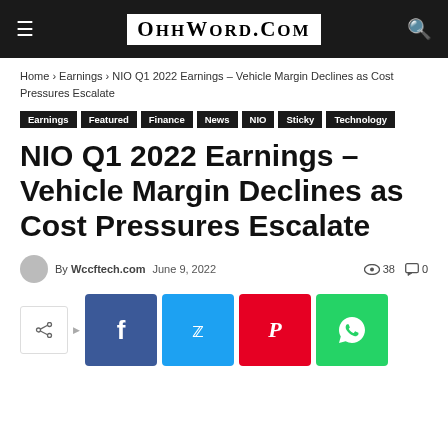Ohhword.com
Home › Earnings › NIO Q1 2022 Earnings – Vehicle Margin Declines as Cost Pressures Escalate
Earnings  Featured  Finance  News  NIO  Sticky  Technology
NIO Q1 2022 Earnings – Vehicle Margin Declines as Cost Pressures Escalate
By Wccftech.com  June 9, 2022  38  0